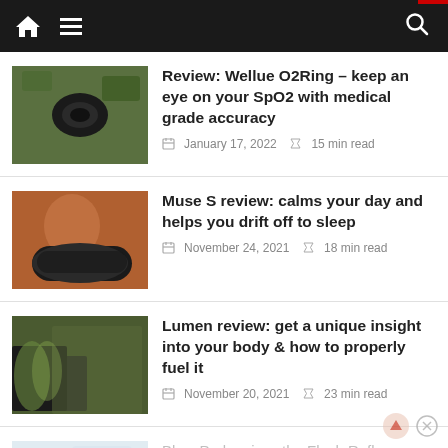Navigation bar with home, menu, and search icons
Review: Wellue O2Ring – keep an eye on your SpO2 with medical grade accuracy
January 17, 2022   15 min read
Muse S review: calms your day and helps you drift off to sleep
November 24, 2021   18 min read
Lumen review: get a unique insight into your body & how to properly fuel it
November 20, 2021   23 min read
BlazePod review: the Flash Reflex Training System for everyone